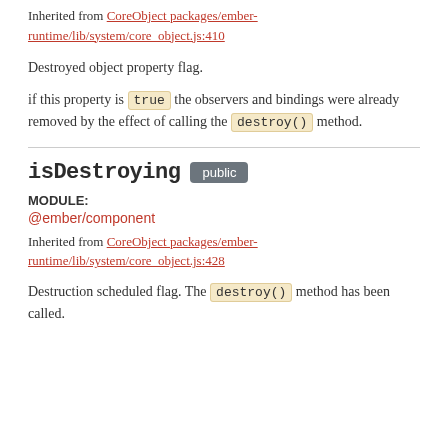Inherited from CoreObject packages/ember-runtime/lib/system/core_object.js:410
Destroyed object property flag.
if this property is true the observers and bindings were already removed by the effect of calling the destroy() method.
isDestroying public
MODULE:
@ember/component
Inherited from CoreObject packages/ember-runtime/lib/system/core_object.js:428
Destruction scheduled flag. The destroy() method has been called.